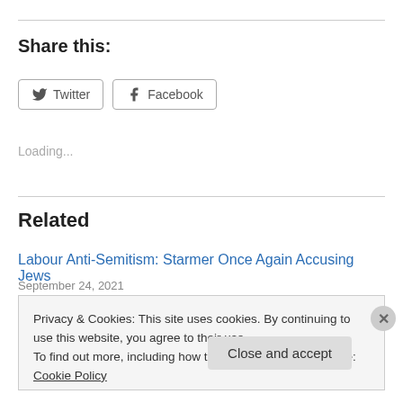Share this:
[Figure (screenshot): Twitter and Facebook share buttons]
Loading...
Related
Labour Anti-Semitism: Starmer Once Again Accusing Jews
September 24, 2021
Privacy & Cookies: This site uses cookies. By continuing to use this website, you agree to their use.
To find out more, including how to control cookies, see here: Cookie Policy